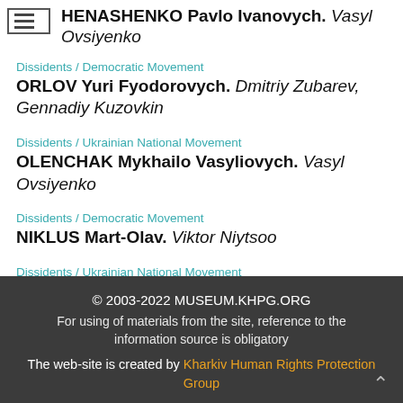HENASHENKO Pavlo Ivanovych. Vasyl Ovsiyenko
Dissidents / Democratic Movement
ORLOV Yuri Fyodorovych. Dmitriy Zubarev, Gennadiy Kuzovkin
Dissidents / Ukrainian National Movement
OLENCHAK Mykhailo Vasyliovych. Vasyl Ovsiyenko
Dissidents / Democratic Movement
NIKLUS Mart-Olav. Viktor Niytsoo
Dissidents / Ukrainian National Movement
KHOLODNYI Mykola Kostiantynovych. Vasyl Ovsiyenko
© 2003-2022 MUSEUM.KHPG.ORG
For using of materials from the site, reference to the information source is obligatory
The web-site is created by Kharkiv Human Rights Protection Group